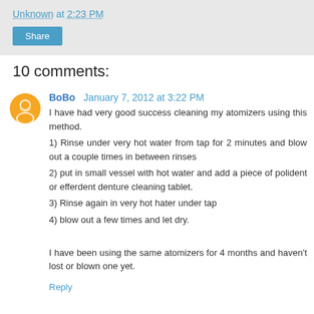Unknown at 2:23 PM
Share
10 comments:
BoBo  January 7, 2012 at 3:22 PM
I have had very good success cleaning my atomizers using this method.
1) Rinse under very hot water from tap for 2 minutes and blow out a couple times in between rinses
2) put in small vessel with hot water and add a piece of polident or efferdent denture cleaning tablet.
3) Rinse again in very hot hater under tap
4) blow out a few times and let dry.

I have been using the same atomizers for 4 months and haven't lost or blown one yet.
Reply